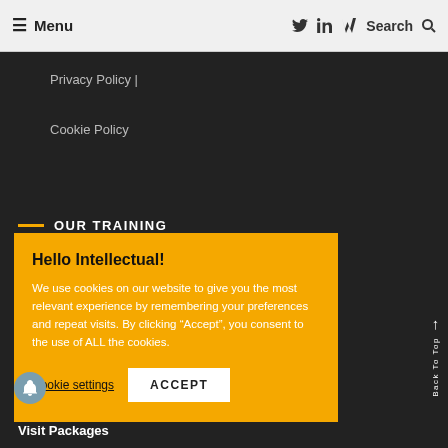≡ Menu | Twitter LinkedIn W Search
Privacy Policy |
Cookie Policy
OUR TRAINING
Hello Intellectual!
We use cookies on our website to give you the most relevant experience by remembering your preferences and repeat visits. By clicking "Accept", you consent to the use of ALL the cookies.
Cookie settings | ACCEPT
Visit Packages